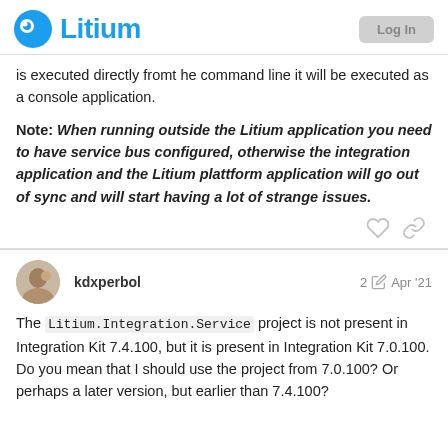Litium
is executed directly fromt he command line it will be executed as a console application.
Note: When running outside the Litium application you need to have service bus configured, otherwise the integration application and the Litium plattform application will go out of sync and will start having a lot of strange issues.
kdxperbol  2  Apr '21
The Litium.Integration.Service project is not present in Integration Kit 7.4.100, but it is present in Integration Kit 7.0.100. Do you mean that I should use the project from 7.0.100? Or perhaps a later version, but earlier than 7.4.100?